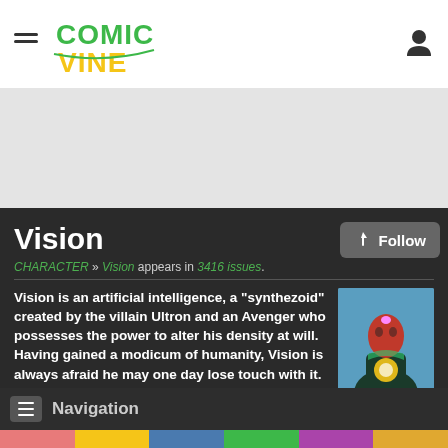Comic Vine — Navigation header with hamburger menu, logo, and user icon
[Figure (screenshot): Comic Vine logo in green and yellow stylized text]
Vision
CHARACTER » Vision appears in 3416 issues.
[Figure (illustration): Vision character artwork — red-faced synthezoid in dark suit with glowing orb on chest, blue background]
Vision is an artificial intelligence, a "synthezoid" created by the villain Ultron and an Avenger who possesses the power to alter his density at will. Having gained a modicum of humanity, Vision is always afraid he may one day lose touch with it.
Navigation